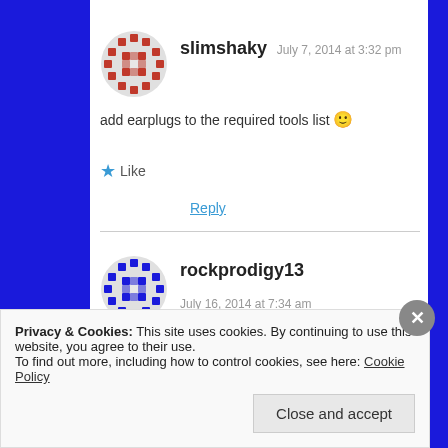[Figure (illustration): Red pixel-art avatar icon for user slimshaky]
slimshaky July 7, 2014 at 3:32 pm
add earplugs to the required tools list 🙂
★ Like
Reply
[Figure (illustration): Blue pixel-art avatar icon for user rockprodigy13]
rockprodigy13
July 16, 2014 at 7:34 am
Privacy & Cookies: This site uses cookies. By continuing to use this website, you agree to their use.
To find out more, including how to control cookies, see here: Cookie Policy
Close and accept